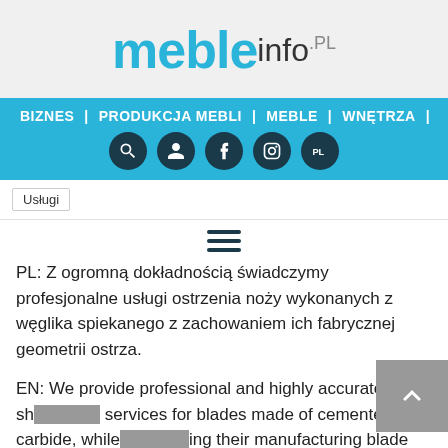[Figure (logo): mebleinfo.pl website logo with large cyan 'meble' text and grey 'info.pl' text]
BIZNES | PRODUKCJA MEBLI | MEBLE | WNĘTRZA |
[Figure (infographic): Navigation icon buttons: search, user, facebook, instagram, PL language]
Usługi
[Figure (infographic): Hamburger menu icon (three horizontal lines)]
PL: Z ogromną dokładnością świadczymy profesjonalne usługi ostrzenia noży wykonanych z węglika spiekanego z zachowaniem ich fabrycznej geometrii ostrza.
EN: We provide professional and highly accurate sharpening services for blades made of cemented carbide, while maintaining their manufacturing blade geometry.